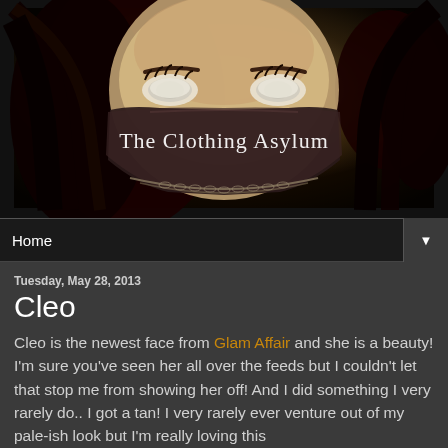[Figure (illustration): Blog header banner showing an illustrated woman with red hair, pale glowing eyes, wearing a dark mask/muzzle with chains. Text reads 'The Clothing Asylum' in decorative serif font on the mask area.]
Home ▼
Tuesday, May 28, 2013
Cleo
Cleo is the newest face from Glam Affair and she is a beauty!  I'm sure you've seen her all over the feeds but I couldn't let that stop me from showing her off!  And I did something I very rarely do.. I got a tan!  I very rarely ever venture out of my pale-ish look but I'm really loving this